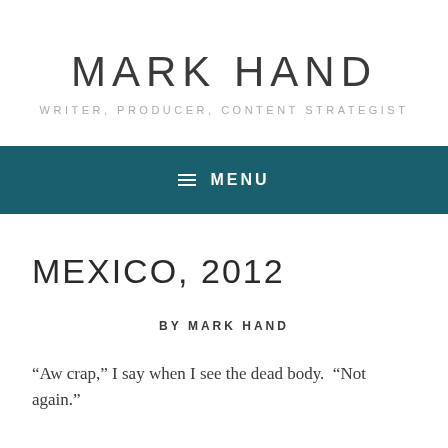MARK HAND
WRITER, PRODUCER, CONTENT STRATEGIST
≡ MENU
MEXICO, 2012
BY MARK HAND
“Aw crap,” I say when I see the dead body.  “Not again.”